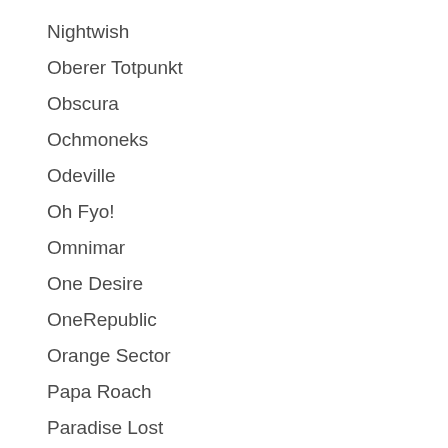Nightwish
Oberer Totpunkt
Obscura
Ochmoneks
Odeville
Oh Fyo!
Omnimar
One Desire
OneRepublic
Orange Sector
Papa Roach
Paradise Lost